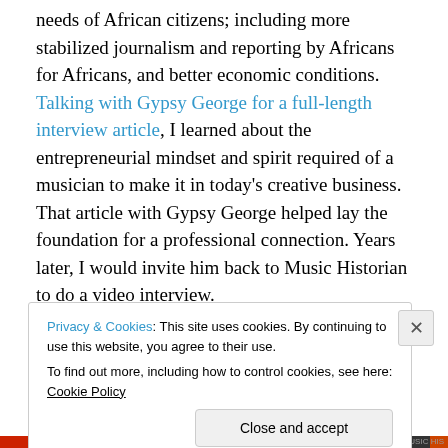needs of African citizens; including more stabilized journalism and reporting by Africans for Africans, and better economic conditions. Talking with Gypsy George for a full-length interview article, I learned about the entrepreneurial mindset and spirit required of a musician to make it in today's creative business. That article with Gypsy George helped lay the foundation for a professional connection. Years later, I would invite him back to Music Historian to do a video interview.
Each professional will provide their thoughts about how to
Privacy & Cookies: This site uses cookies. By continuing to use this website, you agree to their use. To find out more, including how to control cookies, see here: Cookie Policy